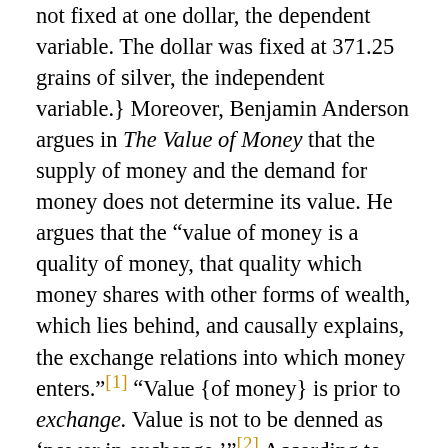not fixed at one dollar, the dependent variable. The dollar was fixed at 371.25 grains of silver, the independent variable.} Moreover, Benjamin Anderson argues in The Value of Money that the supply of money and the demand for money does not determine its value. He argues that the "value of money is a quality of money, that quality which money shares with other forms of wealth, which lies behind, and causally explains, the exchange relations into which money enters."[1] "Value {of money} is prior to exchange. Value is not to be denned as 'power in exchange.'"[2] According to Anderson, the social value theory best explains the value of money: "the social value theory is the only way of giving a psychological explanation to the demand-curve, and a marginal value explanation of marginal demand-price."[3] Thus, the value of money derives from the value of the commodity of which it is made. The value of the commodity as money combines with the